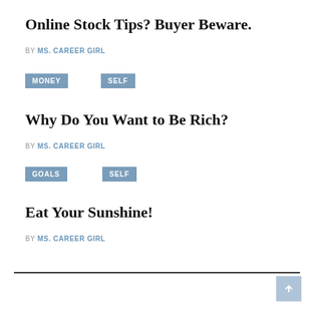Online Stock Tips? Buyer Beware.
BY MS. CAREER GIRL
MONEY
SELF
Why Do You Want to Be Rich?
BY MS. CAREER GIRL
GOALS
SELF
Eat Your Sunshine!
BY MS. CAREER GIRL